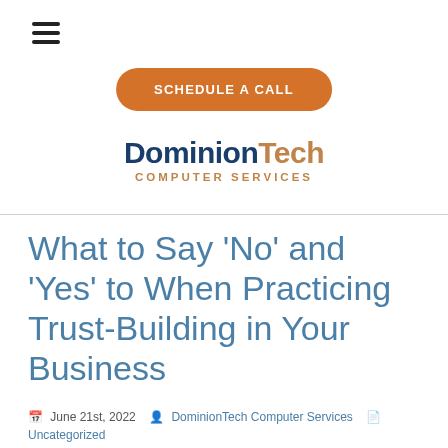≡ SCHEDULE A CALL | DominionTech Computer Services
What to Say 'No' and 'Yes' to When Practicing Trust-Building in Your Business
📅 June 21st, 2022  👤 DominionTech Computer Services  📄 Uncategorized